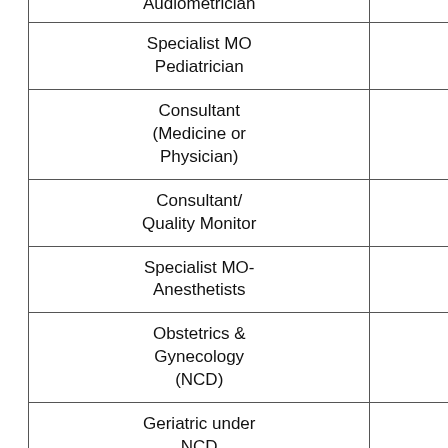| Audiometrician | Rs. 21,000/- |
| Specialist MO Pediatrician | Rs. 1,10,000/- |
| Consultant (Medicine or Physician) | Rs. 66,000/- |
| Consultant/ Quality Monitor | Rs. 30,000/- |
| Specialist MO-Anesthetists |  |
| Obstetrics & Gynecology (NCD) |  |
| Geriatric under NCD |  |
| ENT under NCD |  |